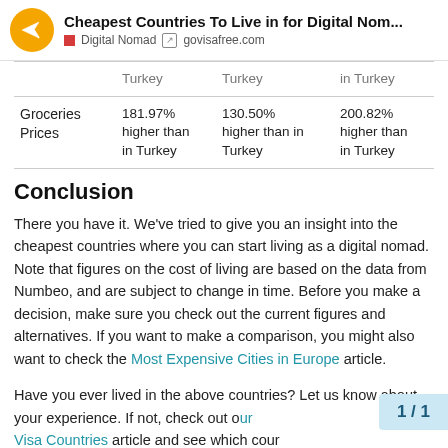Cheapest Countries To Live in for Digital Nom... | Digital Nomad | govisafree.com
|  | Col1 | Col2 | Col3 |
| --- | --- | --- | --- |
|  | Turkey | Turkey | in Turkey |
| Groceries Prices | 181.97% higher than in Turkey | 130.50% higher than in Turkey | 200.82% higher than in Turkey |
Conclusion
There you have it. We've tried to give you an insight into the cheapest countries where you can start living as a digital nomad. Note that figures on the cost of living are based on the data from Numbeo, and are subject to change in time. Before you make a decision, make sure you check out the current figures and alternatives. If you want to make a comparison, you might also want to check the Most Expensive Cities in Europe article.
Have you ever lived in the above countries? Let us know about your experience. If not, check out our Visa Countries article and see which cour